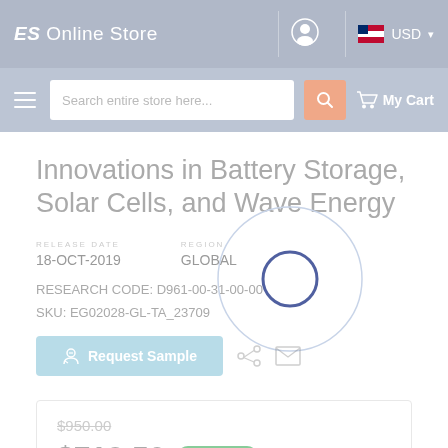ES Online Store  USD
Search entire store here...  My Cart
Innovations in Battery Storage, Solar Cells, and Wave Energy
RELEASE DATE
18-OCT-2019
REGION
GLOBAL
RESEARCH CODE: D961-00-31-00-00
SKU: EG02028-GL-TA_23709
Request Sample
$950.00
$712.50  save 25 %